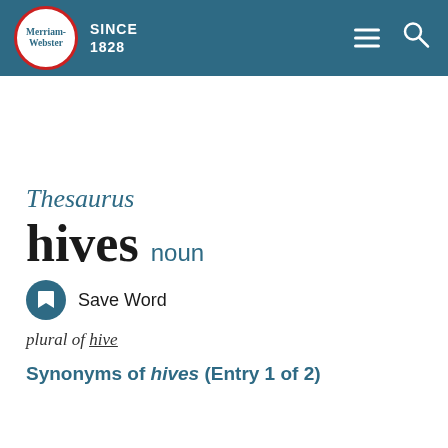[Figure (logo): Merriam-Webster logo with red-bordered circle and teal header bar, SINCE 1828 text, hamburger menu and search icons]
Thesaurus
hives  noun
Save Word
plural of hive
Synonyms of hives (Entry 1 of 2)